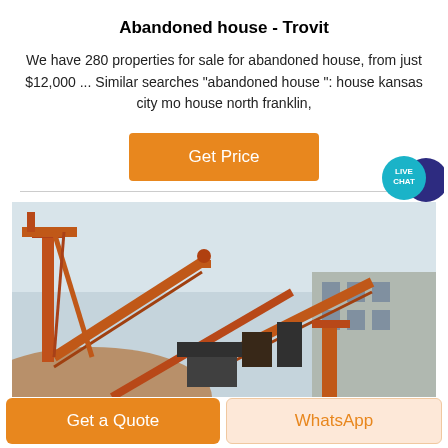Abandoned house - Trovit
We have 280 properties for sale for abandoned house, from just $12,000 ... Similar searches "abandoned house ": house kansas city mo house north franklin,
[Figure (other): Orange 'Get Price' button]
[Figure (photo): Industrial mining/quarry plant with orange conveyor belts and machinery against a grey sky, with a building in the background]
[Figure (other): Live Chat bubble icon in teal and dark blue]
Get a Quote
WhatsApp